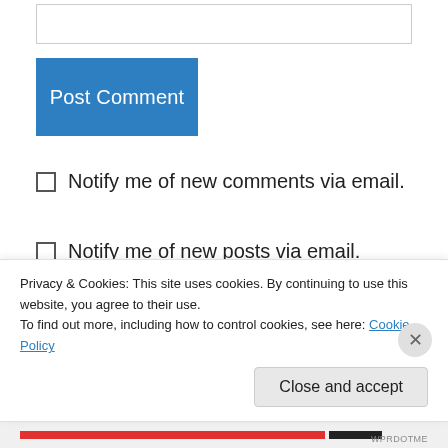[Figure (other): Text input box (empty, white, with border)]
Post Comment
Notify me of new comments via email.
Notify me of new posts via email.
Alexandra on September 2, 2014 at 2:43 am
Wonderfully, marvelously put. I think this is just
Privacy & Cookies: This site uses cookies. By continuing to use this website, you agree to their use.
To find out more, including how to control cookies, see here: Cookie Policy
Close and accept